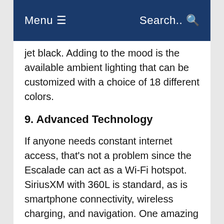Menu ☰   Search..
jet black. Adding to the mood is the available ambient lighting that can be customized with a choice of 18 different colors.
9. Advanced Technology
If anyone needs constant internet access, that's not a problem since the Escalade can act as a Wi-Fi hotspot. SiriusXM with 360L is standard, as is smartphone connectivity, wireless charging, and navigation. One amazing thing about the technology package is that it features a 16.9-inch OLED color display. This is in addition to a 7.2-inch control panel and a 14.2-inch cluster display. The cluster